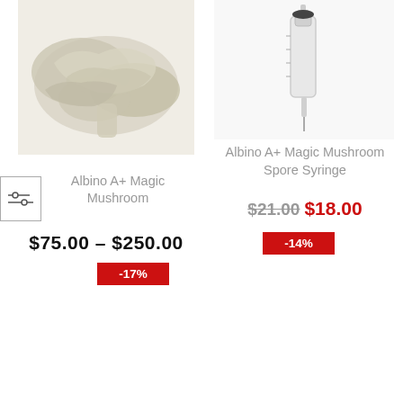[Figure (photo): Dried albino magic mushrooms on white background]
[Figure (photo): Medical syringe on white background]
Albino A+ Magic Mushroom
$75.00 – $250.00
-17%
Albino A+ Magic Mushroom Spore Syringe
$21.00 $18.00
-14%